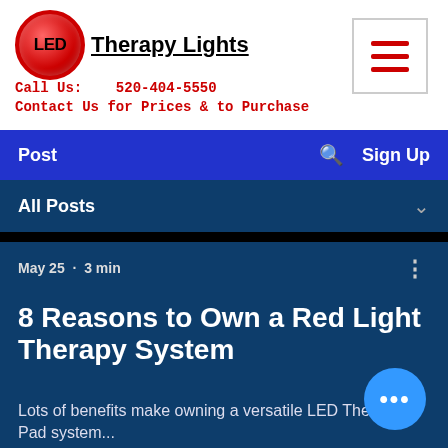[Figure (logo): LED Therapy Lights logo with red circular icon and company name]
Call Us:   520-404-5550
Contact Us for Prices & to Purchase
[Figure (other): Hamburger menu button with three red horizontal lines]
Post   🔍   Sign Up
All Posts
May 25  ·  3 min
8 Reasons to Own a Red Light Therapy System
Lots of benefits make owning a versatile LED Therapy Pad system...